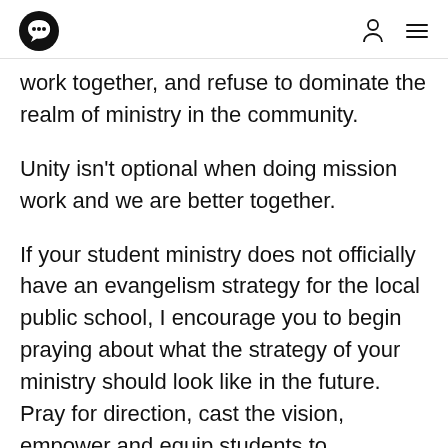[logo] [user icon] [menu icon]
work together, and refuse to dominate the realm of ministry in the community.
Unity isn't optional when doing mission work and we are better together.
If your student ministry does not officially have an evangelism strategy for the local public school, I encourage you to begin praying about what the strategy of your ministry should look like in the future. Pray for direction, cast the vision, empower and equip students to